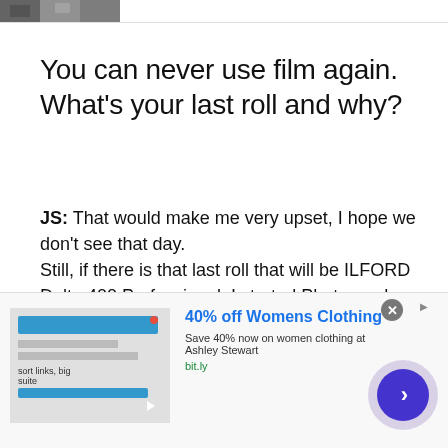[Figure (photo): Partial black and white photograph visible at the top of the page]
You can never use film again. What's your last roll and why?
JS: That would make me very upset, I hope we don't see that day.
Still, if there is that last roll that will be ILFORD Delta 400 Professional. I started Photography with this film, it is...
[Figure (other): Advertisement banner: 40% off Womens Clothing - Save 40% now on women clothing at Ashley Stewart - bit.ly]